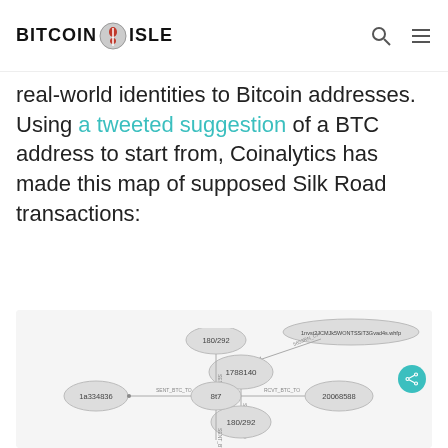BITCOIN ISLE
real-world identities to Bitcoin addresses. Using a tweeted suggestion of a BTC address to start from, Coinalytics has made this map of supposed Silk Road transactions:
[Figure (network-graph): Network graph showing supposed Silk Road Bitcoin transactions. Nodes include BTC addresses: 1788140, 180/292, 8t7, 1a334836, 20068588, and a long address 1nvst2JCMJk5WONTSSiT3Gvad4s.whfp. Edges are labeled with SENT_BTC_TO and RCVT_BTC_TO.]